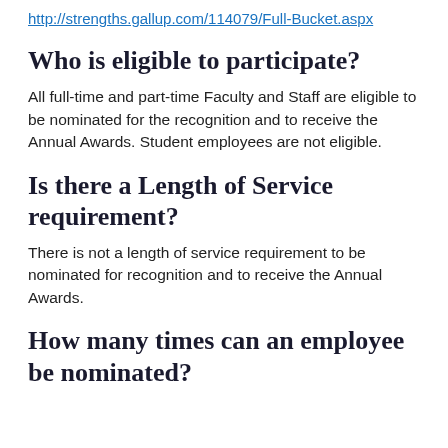http://strengths.gallup.com/114079/Full-Bucket.aspx
Who is eligible to participate?
All full-time and part-time Faculty and Staff are eligible to be nominated for the recognition and to receive the Annual Awards. Student employees are not eligible.
Is there a Length of Service requirement?
There is not a length of service requirement to be nominated for recognition and to receive the Annual Awards.
How many times can an employee be nominated?